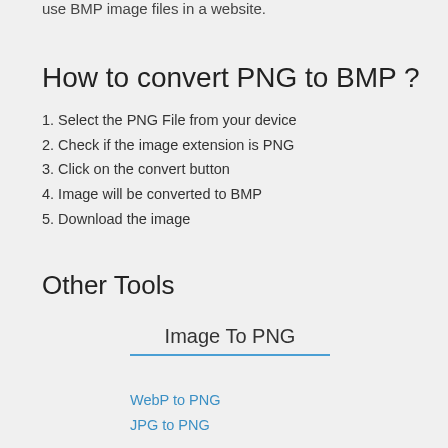use BMP image files in a website.
How to convert PNG to BMP ?
1. Select the PNG File from your device
2. Check if the image extension is PNG
3. Click on the convert button
4. Image will be converted to BMP
5. Download the image
Other Tools
Image To PNG
WebP to PNG
JPG to PNG